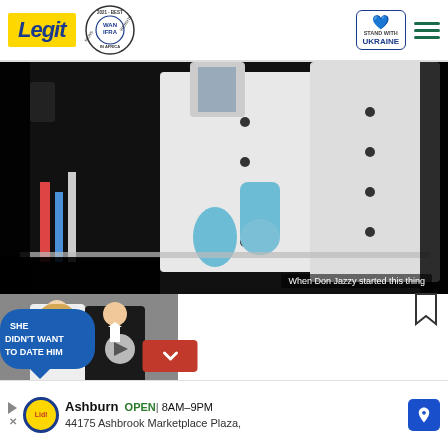Legit | WAN-IFRA 2021 Best News Website in Africa | Stand with Ukraine
[Figure (screenshot): Video still showing two people in white lab coats and blue latex gloves in a laboratory setting. Subtitle text reads: 'When Don Jazzy started this thing']
When Don Jazzy started this thing
[Figure (screenshot): Promotional video thumbnail showing a blonde woman in white dress and a man in black tuxedo with bow tie, with overlay text 'SHE DIDN'T WANT TO DATE HIM' in blue speech bubble]
[Figure (screenshot): Advertisement banner: Ashburn OPEN 8AM-9PM, 44175 Ashbrook Marketplace Plaza, Lidl store ad with navigation arrow]